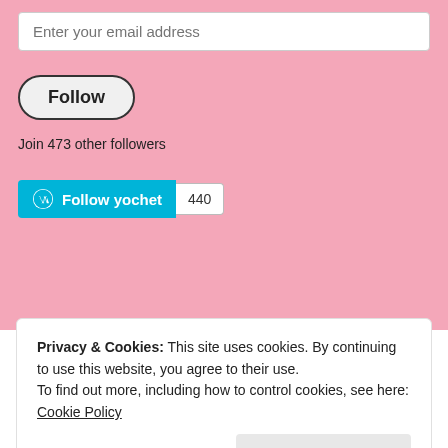Enter your email address
Follow
Join 473 other followers
[Figure (other): WordPress Follow button widget showing 'Follow yochet' in teal/blue with WordPress logo, and a count badge showing 440]
Privacy & Cookies: This site uses cookies. By continuing to use this website, you agree to their use. To find out more, including how to control cookies, see here: Cookie Policy
Close and accept